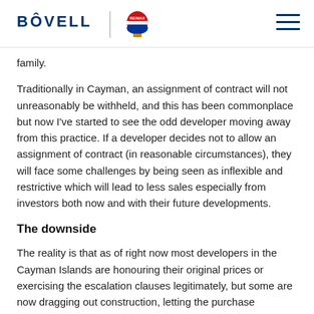BÔVELL | RE/MAX [logo]
family.
Traditionally in Cayman, an assignment of contract will not unreasonably be withheld, and this has been commonplace but now I've started to see the odd developer moving away from this practice. If a developer decides not to allow an assignment of contract (in reasonable circumstances), they will face some challenges by being seen as inflexible and restrictive which will lead to less sales especially from investors both now and with their future developments.
The downside
The reality is that as of right now most developers in the Cayman Islands are honouring their original prices or exercising the escalation clauses legitimately, but some are now dragging out construction, letting the purchase contracts expire and then re-selling them at higher prices to the previous or new buyers.
Fortunately, this is not a common practice in the Cayman Islands, but it has happened in other parts of the world where